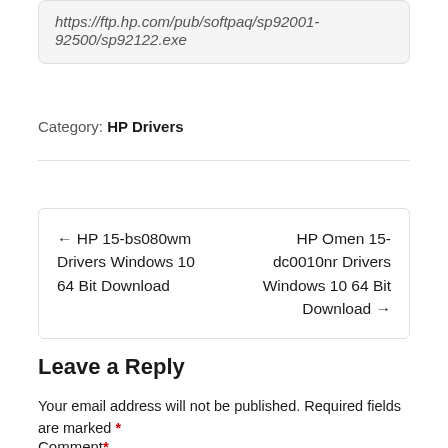https://ftp.hp.com/pub/softpaq/sp92001-92500/sp92122.exe
Category: HP Drivers
← HP 15-bs080wm Drivers Windows 10 64 Bit Download
HP Omen 15-dc0010nr Drivers Windows 10 64 Bit Download →
Leave a Reply
Your email address will not be published. Required fields are marked *
Comment *